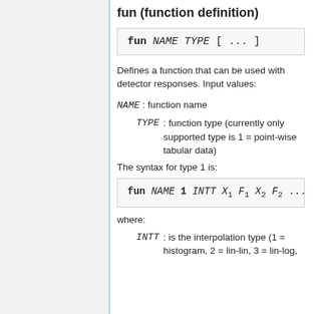fun (function definition)
fun NAME TYPE [ ... ]
Defines a function that can be used with detector responses. Input values:
NAME : function name
TYPE : function type (currently only supported type is 1 = point-wise tabular data)
The syntax for type 1 is:
fun NAME 1 INTT X1 F1 X2 F2 ...
where:
INTT : is the interpolation type (1 = histogram, 2 = lin-lin, 3 = lin-log,